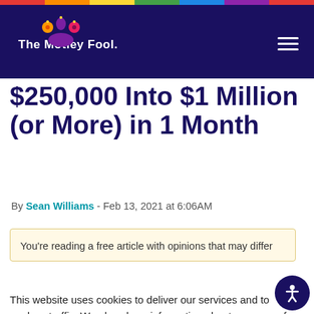The Motley Fool
$250,000 Into $1 Million (or More) in 1 Month
By Sean Williams - Feb 13, 2021 at 6:06AM
You're reading a free article with opinions that may differ
This website uses cookies to deliver our services and to analyze traffic. We also share information about your use of our site with advertising and other partners. Privacy Policy
Got it
Cookie Settings